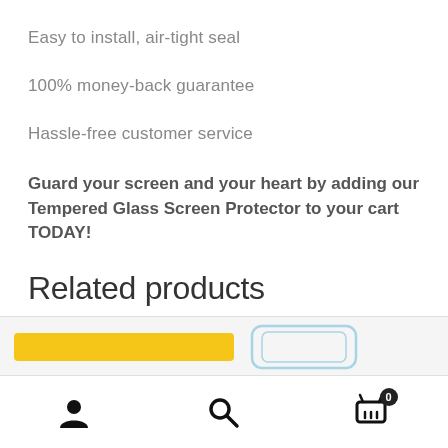Easy to install, air-tight seal
100% money-back guarantee
Hassle-free customer service
Guard your screen and your heart by adding our Tempered Glass Screen Protector to your cart TODAY!
Related products
[Figure (photo): Yellow bar product image and screen protector product image visible at bottom of page]
Bottom navigation bar with user icon, search icon, and cart icon with badge showing 0